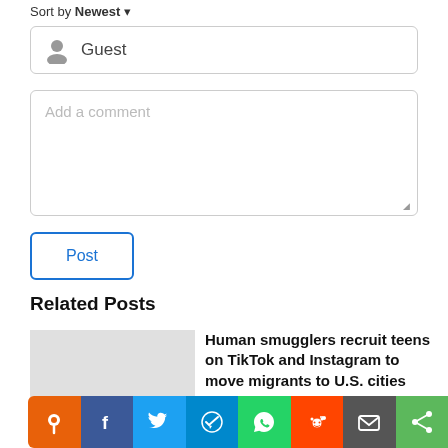Sort by Newest ▾
Guest
Add a comment
Post
Related Posts
Human smugglers recruit teens on TikTok and Instagram to move migrants to U.S. cities
[Figure (infographic): Social share bar with icons: pin/location (orange), Facebook (blue), Twitter (blue), Telegram (blue), WhatsApp (green), Reddit (orange-red), Email (dark gray), Share (green)]